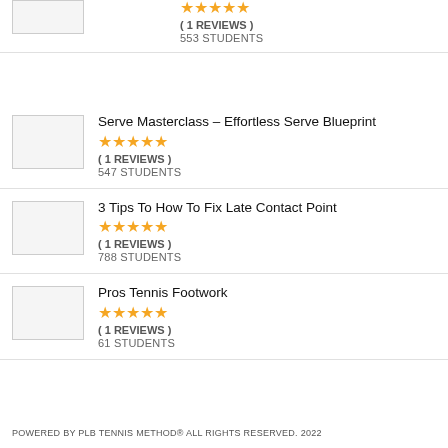[Figure (illustration): Partial course thumbnail at top of page (cropped)]
( 1 REVIEWS )
553 STUDENTS
Serve Masterclass – Effortless Serve Blueprint
( 1 REVIEWS )
547 STUDENTS
3 Tips To How To Fix Late Contact Point
( 1 REVIEWS )
788 STUDENTS
Pros Tennis Footwork
( 1 REVIEWS )
61 STUDENTS
POWERED BY PLB TENNIS METHOD® ALL RIGHTS RESERVED. 2022